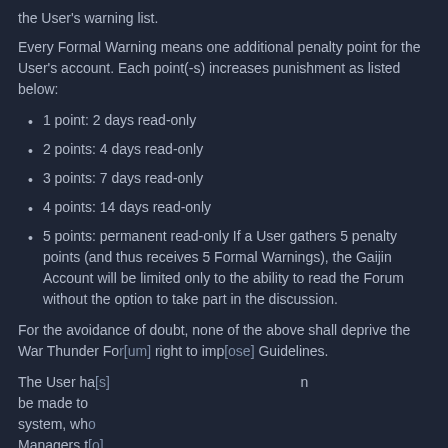the User's warning list.
Every Formal Warning means one additional penalty point for the User's account. Each point(-s) increases punishment as listed below:
1 point: 2 days read-only
2 points: 4 days read-only
3 points: 7 days read-only
4 points: 14 days read-only
5 points: permanent read-only If a User gathers 5 penalty points (and thus receives 5 Formal Warnings), the Gaijin Account will be limited only to the ability to read the Forum without the option to take part in the discussion.
For the avoidance of doubt, none of the above shall deprive the War Thunder Fo[rum] right to imp[ose] Guidelines.
The User ha[s] [an] be made to [the] system, who Managers t[o]
[Figure (screenshot): Cookie consent dialog overlay with title 'Pliki Cookie', text 'Strona korzysta z plików Cookies. Kontynuując przeglądanie strony wyrażasz zgodę na korzystanie z tych plików.', an OK button, a 'Polityka plików Cookie' link, and a close (X) button.]
7. Posting limitations on certain websites. There are some